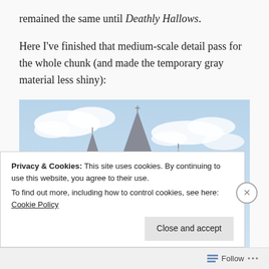remained the same until Deathly Hallows.
Here I've finished that medium-scale detail pass for the whole chunk (and made the temporary gray material less shiny):
[Figure (illustration): 3D rendered image of Hogwarts castle with grey stone towers and spires set against a blue sky with clouds, sitting on a rocky snowy base with scaffolding visible.]
Privacy & Cookies: This site uses cookies. By continuing to use this website, you agree to their use.
To find out more, including how to control cookies, see here: Cookie Policy
Follow •••